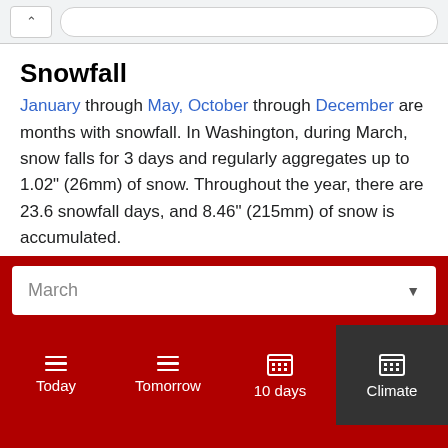Snowfall
January through May, October through December are months with snowfall. In Washington, during March, snow falls for 3 days and regularly aggregates up to 1.02" (26mm) of snow. Throughout the year, there are 23.6 snowfall days, and 8.46" (215mm) of snow is accumulated.
Daylight
In Washington, the average length of the day in
March ▼
Today  Tomorrow  10 days  Climate